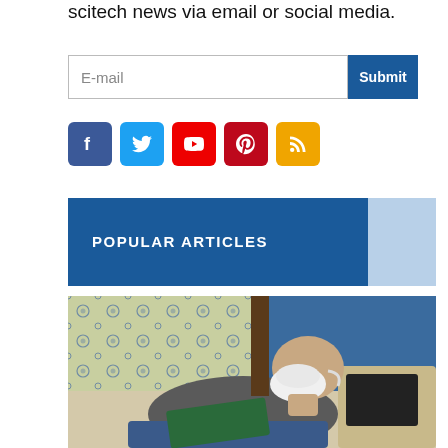scitech news via email or social media.
E-mail
Submit
POPULAR ARTICLES
[Figure (photo): A bald man wearing a white face mask sleeping in a chair with a green book on his lap, against a blue and floral wallpaper background]